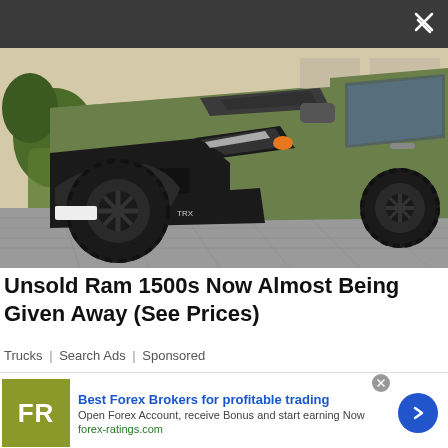[Figure (photo): A matte olive green RAM 1500 TRX pickup truck photographed from the front-left angle, showing the RAM grille, large off-road tires, and black accents. A green planter with a small tree is visible in the background.]
Unsold Ram 1500s Now Almost Being Given Away (See Prices)
Trucks | Search Ads | Sponsored
[Figure (logo): FR logo for forex-ratings.com on an olive/yellow-green square background]
Best Forex Brokers for profitable trading
Open Forex Account, receive Bonus and start earning Now
forex-ratings.com